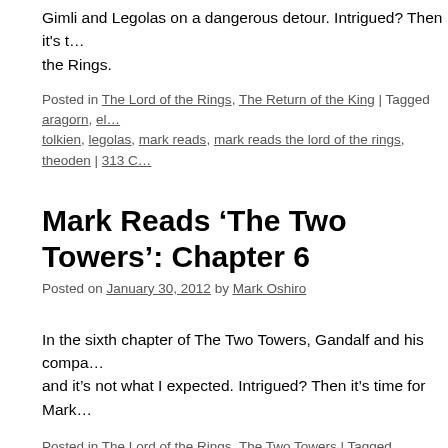Gimli and Legolas on a dangerous detour. Intrigued? Then it's t… the Rings.
Posted in The Lord of the Rings, The Return of the King | Tagged aragorn, el… tolkien, legolas, mark reads, mark reads the lord of the rings, theoden | 313 C…
Mark Reads 'The Two Towers': Chapter 6
Posted on January 30, 2012 by Mark Oshiro
In the sixth chapter of The Two Towers, Gandalf and his compa… and it's not what I expected. Intrigued? Then it's time for Mark…
Posted in The Lord of the Rings, The Two Towers | Tagged aragorn, eomer, e… mark reads, mark reads the lord of the rings, theoden, wormtongue | 474 Cor…